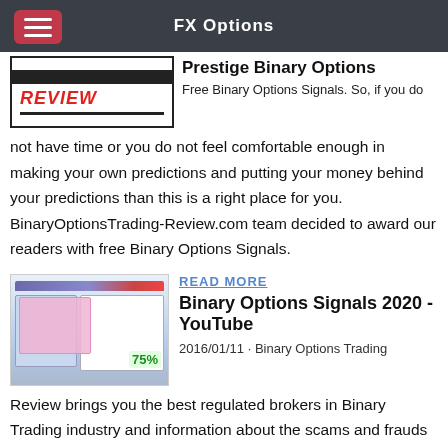FX Options
Prestige Binary Options
Free Binary Options Signals. So, if you do not have time or you do not feel comfortable enough in making your own predictions and putting your money behind your predictions than this is a right place for you. BinaryOptionsTrading-Review.com team decided to award our readers with free Binary Options Signals.
READ MORE
Binary Options Signals 2020 - YouTube
2016/01/11 · Binary Options Trading
Review brings you the best regulated brokers in Binary Trading industry and information about the scams and frauds with Binary Options. please note that our signals do not support IQ Option at the moment. go here to see which brokers are supported: HighLow